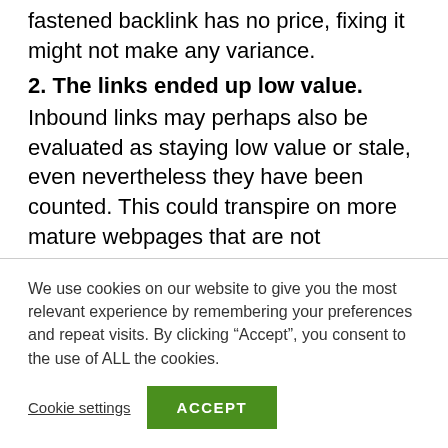fastened backlink has no price, fixing it might not make any variance.
2. The links ended up low value.
Inbound links may perhaps also be evaluated as staying low value or stale, even nevertheless they have been counted. This could transpire on more mature webpages that are not frequented frequently or pages that get zero traffic. Fixing them does not make them useful.
3. They ended up redirected to an irrelevant URL.
We use cookies on our website to give you the most relevant experience by remembering your preferences and repeat visits. By clicking “Accept”, you consent to the use of ALL the cookies.
Cookie settings
ACCEPT